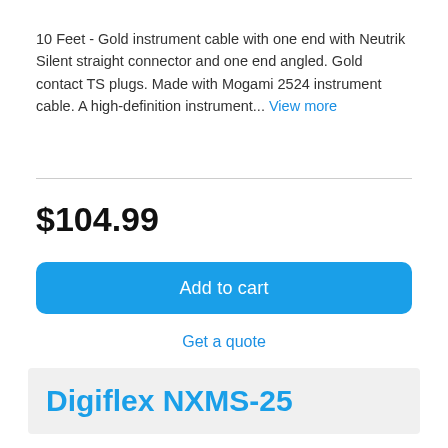10 Feet - Gold instrument cable with one end with Neutrik Silent straight connector and one end angled. Gold contact TS plugs. Made with Mogami 2524 instrument cable. A high-definition instrument... View more
$104.99
Add to cart
Get a quote
Digiflex NXMS-25